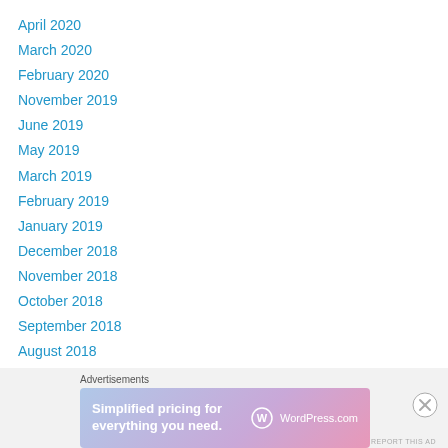April 2020
March 2020
February 2020
November 2019
June 2019
May 2019
March 2019
February 2019
January 2019
December 2018
November 2018
October 2018
September 2018
August 2018
July 2018
June 2018
[Figure (infographic): WordPress.com advertisement banner: 'Simplified pricing for everything you need.' with WordPress.com logo on a purple-pink gradient background.]